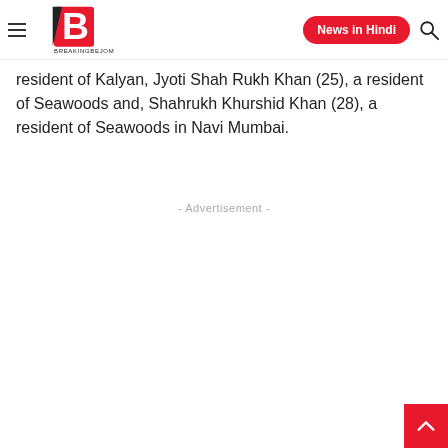BreakingBeJom | News in Hindi
resident of Kalyan, Jyoti Shah Rukh Khan (25), a resident of Seawoods and, Shahrukh Khurshid Khan (28), a resident of Seawoods in Navi Mumbai.
- Advertisement -